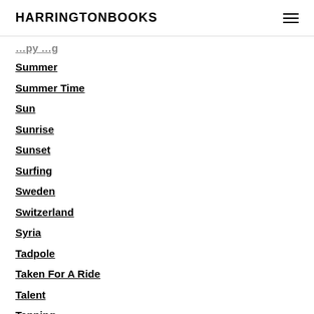HARRINGTONBOOKS
Summer
Summer Time
Sun
Sunrise
Sunset
Surfing
Sweden
Switzerland
Syria
Tadpole
Taken For A Ride
Talent
Tanning
Taro
Tattoos
Taurus